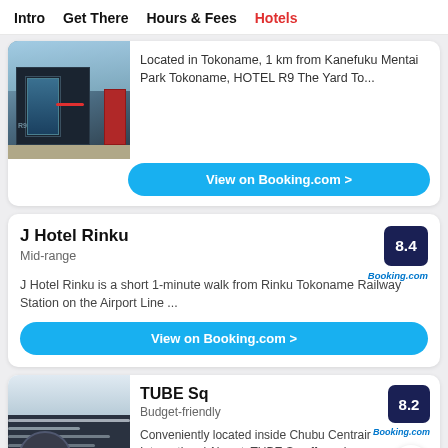Intro  Get There  Hours & Fees  Hotels
[Figure (photo): Photo of shipping container style hotel exterior with black metal containers, glass doors, and red containers in background]
Located in Tokoname, 1 km from Kanefuku Mentai Park Tokoname, HOTEL R9 The Yard To...
View on Booking.com >
J Hotel Rinku
Mid-range
8.4
Booking.com
J Hotel Rinku is a short 1-minute walk from Rinku Tokoname Railway Station on the Airport Line ...
View on Booking.com >
[Figure (photo): Interior photo of modern airport or hotel lobby with dark walls, horizontal light strips, white ceiling, and circular sculpture/art on wall]
TUBE Sq
Budget-friendly
8.2
Booking.com
Conveniently located inside Chubu Centrair International Airport, TUBE Sq offers air-co...